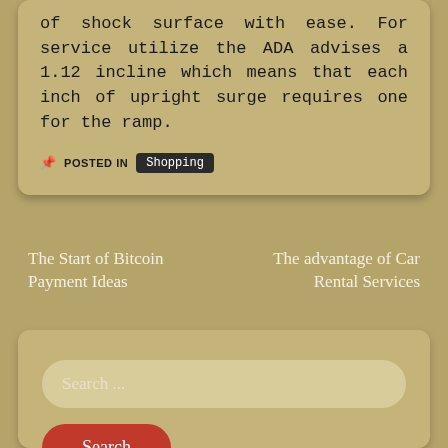of shock surface with ease. For service utilize the ADA advises a 1.12 incline which means that each inch of upright surge requires one for the ramp.
POSTED IN Shopping
The Start of Bitcoin Payment Ideas
The advantage of Car Rental Services
Search ...
Search